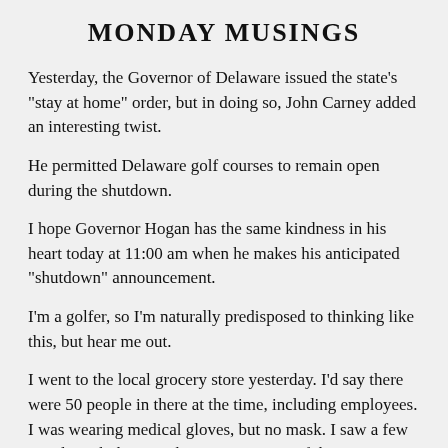MONDAY MUSINGS
Yesterday, the Governor of Delaware issued the state's "stay at home" order, but in doing so, John Carney added an interesting twist.
He permitted Delaware golf courses to remain open during the shutdown.
I hope Governor Hogan has the same kindness in his heart today at 11:00 am when he makes his anticipated "shutdown" announcement.
I'm a golfer, so I'm naturally predisposed to thinking like this, but hear me out.
I went to the local grocery store yesterday. I'd say there were 50 people in there at the time, including employees. I was wearing medical gloves, but no mask. I saw a few people with them on, but no — NONE of the s